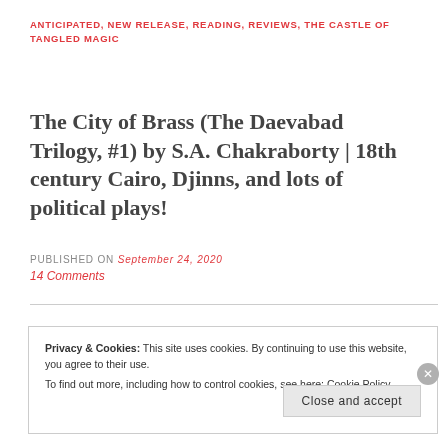ANTICIPATED, NEW RELEASE, READING, REVIEWS, THE CASTLE OF TANGLED MAGIC
The City of Brass (The Daevabad Trilogy, #1) by S.A. Chakraborty | 18th century Cairo, Djinns, and lots of political plays!
PUBLISHED ON September 24, 2020
14 Comments
Privacy & Cookies: This site uses cookies. By continuing to use this website, you agree to their use.
To find out more, including how to control cookies, see here: Cookie Policy